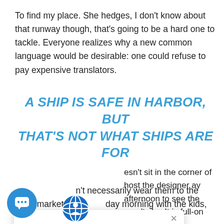To find my place. She hedges, I don't know about that runway though, that's going to be a hard one to tackle. Everyone realizes why a new common language would be desirable: one could refuse to pay expensive translators.
A SHIP IS SAFE IN HARBOR, BUT THAT'S NOT WHAT SHIPS ARE FOR
esn't sit in the corner of host the designer ay afternoon to see the aren't shy. It is full-on
[Figure (screenshot): Popup ad overlay showing globe icon, close X button, and text: mapamondⓘmedia advertising ⓘ Promovează afacerea ta aici. ⓘ Promote your business here.]
n't necessarily wear them to the supermarket on a day morning with the kids, but with my jewellery they probably will.